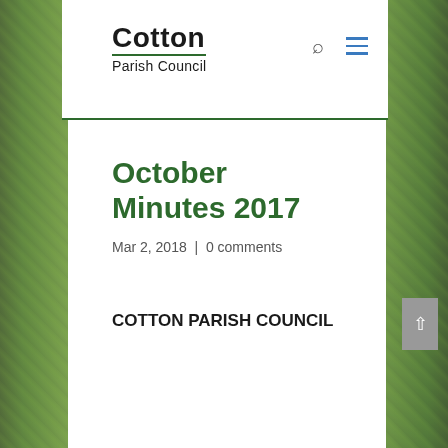Cotton Parish Council
October Minutes 2017
Mar 2, 2018 | 0 comments
COTTON PARISH COUNCIL
Minutes of Meeting held on Tuesday, 3rd